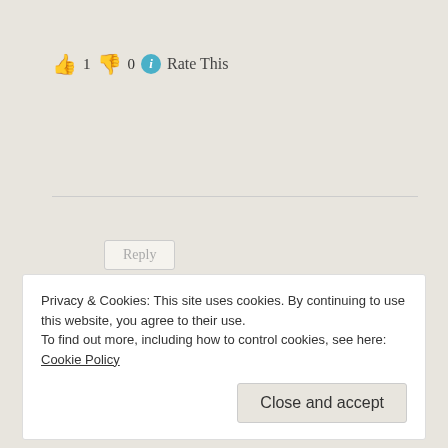👍 1 👎 0 ℹ Rate This
Reply
alkaline water machine
February 28, 2015 at 2:40 am
Privacy & Cookies: This site uses cookies. By continuing to use this website, you agree to their use.
To find out more, including how to control cookies, see here: Cookie Policy
Close and accept